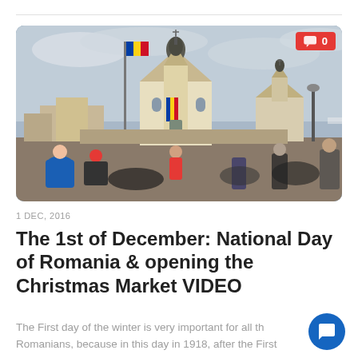[Figure (photo): Outdoor crowd scene in front of a Romanian Orthodox church/cathedral with a tall bell tower decorated with Romanian tricolor flag stripes. A large Romanian flag on a flagpole waves in the overcast sky. Many people in winter clothing are gathered in the foreground. A comment badge showing '0' is overlaid in the top-right corner.]
1 DEC, 2016
The 1st of December: National Day of Romania & opening the Christmas Market VIDEO
The First day of the winter is very important for all the Romanians, because in this day in 1918, after the First